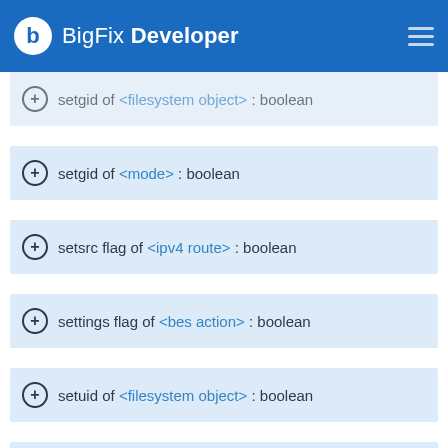BigFix Developer
setgid of <filesystem object> : boolean
setgid of <mode> : boolean
setsrc flag of <ipv4 route> : boolean
settings flag of <bes action> : boolean
setuid of <filesystem object> : boolean
setuid of <mode> : boolean
sha256 download of <license> : boolean